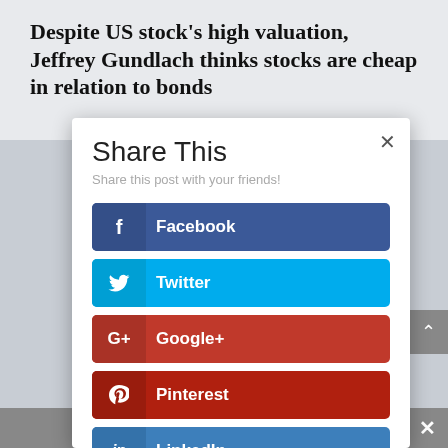Despite US stock’s high valuation, Jeffrey Gundlach thinks stocks are cheap in relation to bonds
[Figure (screenshot): Share This modal dialog overlay on a finance article page, showing social media sharing buttons: Facebook, Twitter, Google+, Pinterest, LinkedIn, StumbleUpon]
Share This
Share this post with your friends!
Facebook
Twitter
Google+
Pinterest
LinkedIn
StumbleUpon